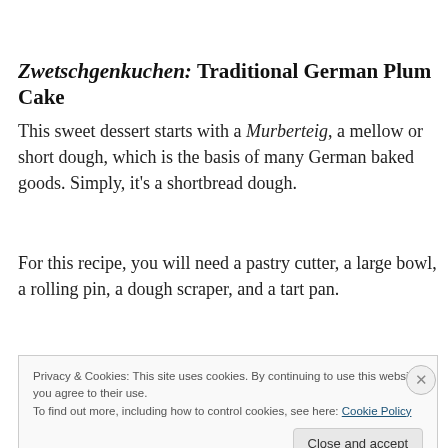Zwetschgenkuchen: Traditional German Plum Cake
This sweet dessert starts with a Murberteig, a mellow or short dough, which is the basis of many German baked goods. Simply, it's a shortbread dough.
For this recipe, you will need a pastry cutter, a large bowl, a rolling pin, a dough scraper, and a tart pan.
Privacy & Cookies: This site uses cookies. By continuing to use this website, you agree to their use.
To find out more, including how to control cookies, see here: Cookie Policy
Close and accept